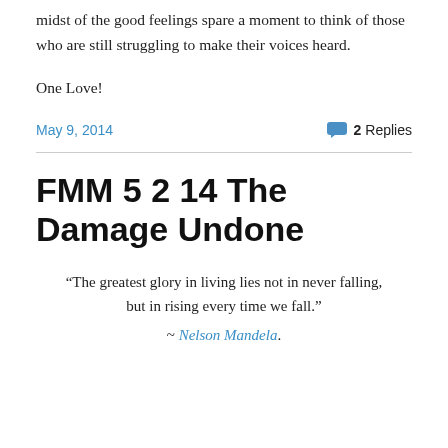midst of the good feelings spare a moment to think of those who are still struggling to make their voices heard.
One Love!
May 9, 2014
2 Replies
FMM 5 2 14 The Damage Undone
“The greatest glory in living lies not in never falling, but in rising every time we fall.” ~ Nelson Mandela.